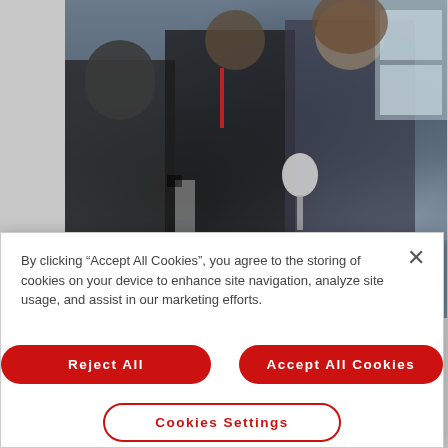[Figure (photo): People at a Maker Faire event, including a woman with curly hair leaning over a table with electronics components, partially visible attendees in the background]
MOUSER ELECTRONICS AT MAKER FAIRE
By clicking “Accept All Cookies”, you agree to the storing of cookies on your device to enhance site navigation, analyze site usage, and assist in our marketing efforts.